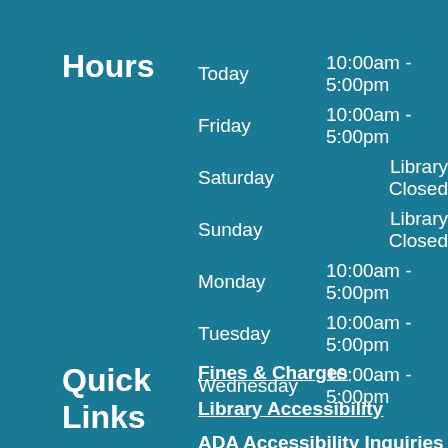Hours
| Day | Hours |
| --- | --- |
| Today | 10:00am - 5:00pm |
| Friday | 10:00am - 5:00pm |
| Saturday | Library Closed |
| Sunday | Library Closed |
| Monday | 10:00am - 5:00pm |
| Tuesday | 10:00am - 5:00pm |
| Wednesday | 10:00am - 5:00pm |
Quick Links
Fines & Charges
Library Accessibility
ADA Accessibility Inquiries
Comments & Suggestions
Connect